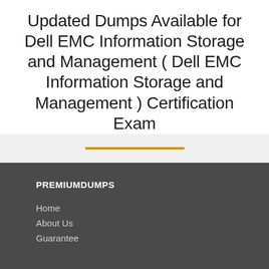Updated Dumps Available for Dell EMC Information Storage and Management ( Dell EMC Information Storage and Management ) Certification Exam
PREMIUMDUMPS
Home
About Us
Guarantee